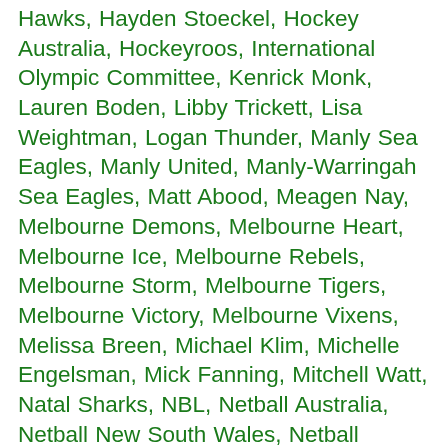Hawks, Hayden Stoeckel, Hockey Australia, Hockeyroos, International Olympic Committee, Kenrick Monk, Lauren Boden, Libby Trickett, Lisa Weightman, Logan Thunder, Manly Sea Eagles, Manly United, Manly-Warringah Sea Eagles, Matt Abood, Meagen Nay, Melbourne Demons, Melbourne Heart, Melbourne Ice, Melbourne Rebels, Melbourne Storm, Melbourne Tigers, Melbourne Victory, Melbourne Vixens, Melissa Breen, Michael Klim, Michelle Engelsman, Mick Fanning, Mitchell Watt, Natal Sharks, NBL, Netball Australia, Netball New South Wales, Netball Victoria, New South Wales Blues, New South Wales Institute of Sport, New South Wales Swifts, New South Wales U18s team, New South